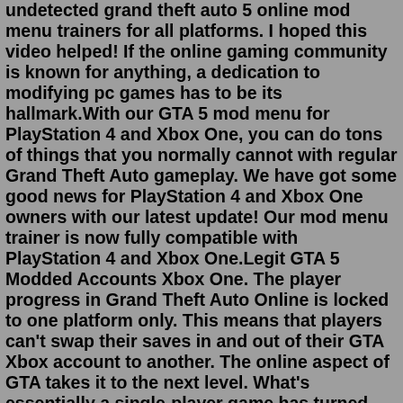undetected grand theft auto 5 online mod menu trainers for all platforms. I hoped this video helped! If the online gaming community is known for anything, a dedication to modifying pc games has to be its hallmark.With our GTA 5 mod menu for PlayStation 4 and Xbox One, you can do tons of things that you normally cannot with regular Grand Theft Auto gameplay. We have got some good news for PlayStation 4 and Xbox One owners with our latest update! Our mod menu trainer is now fully compatible with PlayStation 4 and Xbox One.Legit GTA 5 Modded Accounts Xbox One. The player progress in Grand Theft Auto Online is locked to one platform only. This means that players can't swap their saves in and out of their GTA Xbox account to another. The online aspect of GTA takes it to the next level. What's essentially a single-player game has turned into an online ...The Grand Theft Auto V: Premium Edition & Megalodon Shark Card Bundle includes the complete Grand Theft Auto V story experience, free access to the ever evolving Grand